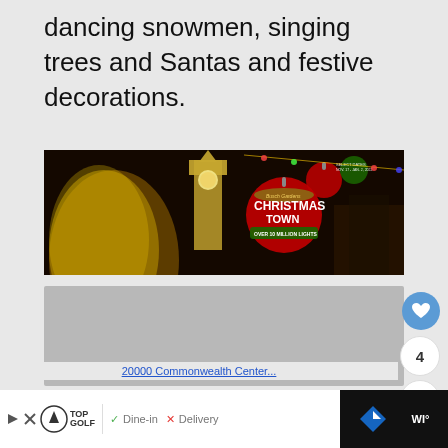dancing snowmen, singing trees and Santas and festive decorations.
[Figure (photo): Busch Gardens Christmas Town promotional banner image showing a lit clock tower at night, decorated Christmas trees, and ornament-style logo reading 'Busch Gardens Christmas Town - Over 10 Million Lights', with select dates Nov. 17 - Jan. 2, 2022]
[Figure (screenshot): Gray placeholder area below the Christmas Town image, likely a map or advertisement loading area]
20000 Commonwealth Center...
Top Golf logo | Dine-in | Delivery | Navigation icon | WI° weather